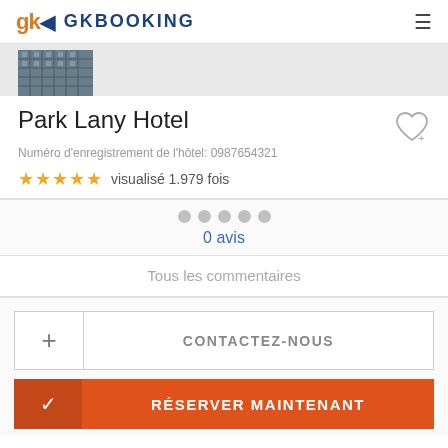GKBOOKING
[Figure (photo): Thumbnail photo of hotel building facade]
Park Lany Hotel
Numéro d'enregistrement de l'hôtel: 0987654321
★★★★★  visualisé 1.979 fois
0 avis
Tous les commentaires
+ CONTACTEZ-NOUS
✓ RÉSERVER MAINTENANT